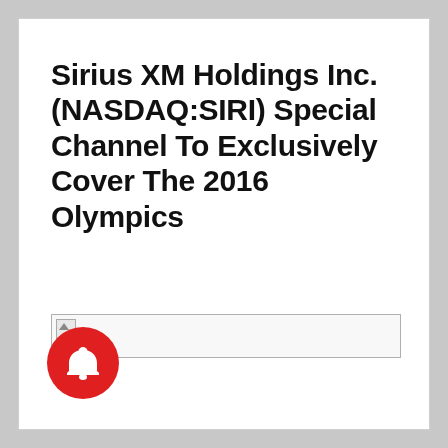Sirius XM Holdings Inc. (NASDAQ:SIRI) Special Channel To Exclusively Cover The 2016 Olympics
[Figure (other): Broken/unloaded image placeholder rectangle]
[Figure (other): Red circular notification bell icon]